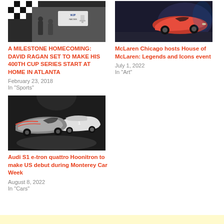[Figure (photo): Racing car at victory lane with checkered flag background]
A MILESTONE HOMECOMING: DAVID RAGAN SET TO MAKE HIS 400TH CUP SERIES START AT HOME IN ATLANTA
February 23, 2018
In "Sports"
[Figure (photo): Red McLaren sports car on display]
McLaren Chicago hosts House of McLaren: Legends and Icons event
July 1, 2022
In "Art"
[Figure (photo): Audi S1 e-tron quattro Hoonitron and a classic racing car on a dark background]
Audi S1 e-tron quattro Hoonitron to make US debut during Monterey Car Week
August 8, 2022
In "Cars"